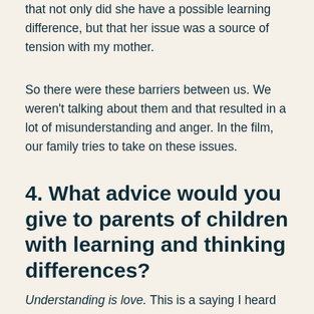that not only did she have a possible learning difference, but that her issue was a source of tension with my mother.
So there were these barriers between us. We weren't talking about them and that resulted in a lot of misunderstanding and anger. In the film, our family tries to take on these issues.
4. What advice would you give to parents of children with learning and thinking differences?
Understanding is love. This is a saying I heard from the meditation tradition to...